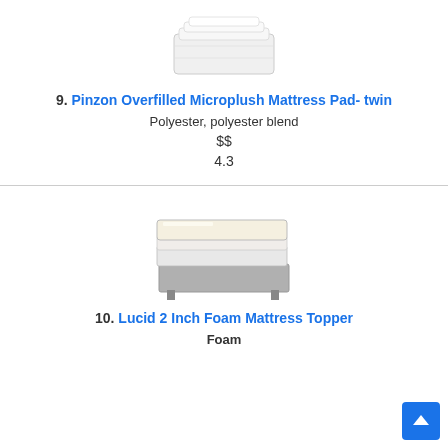[Figure (photo): Folded white mattress pad product image for Pinzon Overfilled Microplush Mattress Pad]
9. Pinzon Overfilled Microplush Mattress Pad- twin
Polyester, polyester blend
$$
4.3
[Figure (photo): Foam mattress topper on a bed frame product image for Lucid 2 Inch Foam Mattress Topper]
10. Lucid 2 Inch Foam Mattress Topper
Foam